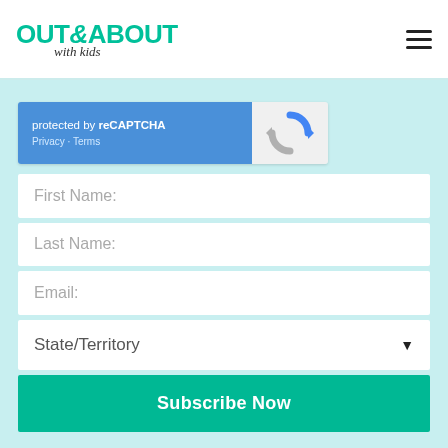OUT & ABOUT with kids — navigation header with hamburger menu
[Figure (screenshot): reCAPTCHA widget showing 'protected by reCAPTCHA' text with Privacy and Terms links on blue background, and reCAPTCHA logo on grey background]
First Name:
Last Name:
Email:
State/Territory
Subscribe Now